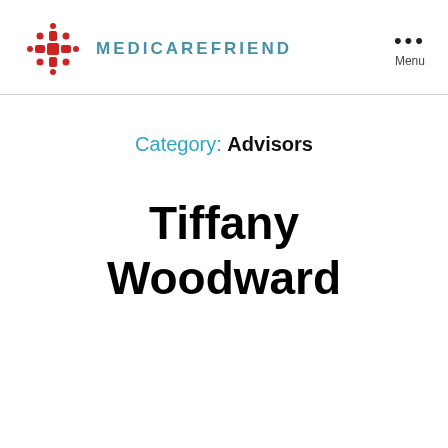[Figure (logo): MedicareFriend logo: red cross-like snowflake icon with small circles at the tips, followed by the text MEDICAREFRIEND in teal/blue spaced capitals]
Menu
Category: Advisors
Tiffany Woodward